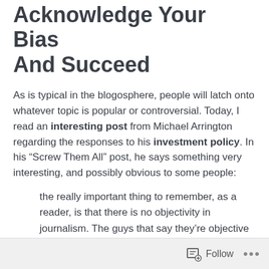Acknowledge Your Bias And Succeed
As is typical in the blogosphere, people will latch onto whatever topic is popular or controversial. Today, I read an interesting post from Michael Arrington regarding the responses to his investment policy. In his “Screw Them All” post, he says something very interesting, and possibly obvious to some people:
the really important thing to remember, as a reader, is that there is no objectivity in journalism. The guys that say they’re objective are just pretending. Everyone is conflicted in different ways, and yet the “rules of journalism” don’t require any sort of
Follow